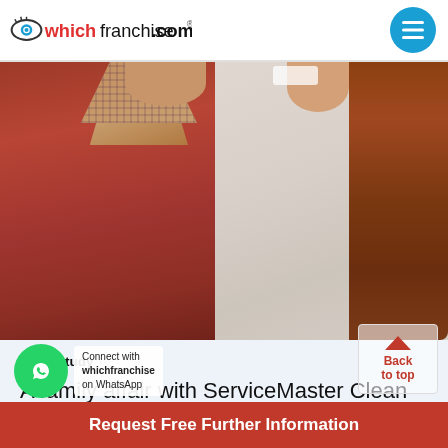whichfranchise.com
[Figure (photo): Two smiling people, a man in a dark red/maroon V-neck sweater with a plaid collar shirt and a woman with long auburn braided hair in a light-colored top, photographed from chest up against a white background.]
Case Study
A family affair with ServiceMaster Clean Residential and Commercial
Connect with whichfranchise on WhatsApp
Back to top
Request Free Further Information